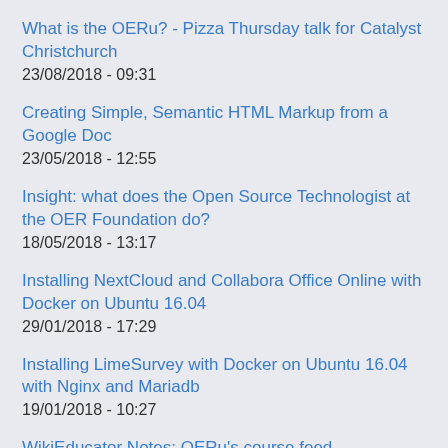What is the OERu? - Pizza Thursday talk for Catalyst Christchurch
23/08/2018 - 09:31
Creating Simple, Semantic HTML Markup from a Google Doc
23/05/2018 - 12:55
Insight: what does the Open Source Technologist at the OER Foundation do?
18/05/2018 - 13:17
Installing NextCloud and Collabora Office Online with Docker on Ubuntu 16.04
29/01/2018 - 17:29
Installing LimeSurvey with Docker on Ubuntu 16.04 with Nginx and Mariadb
19/01/2018 - 10:27
WikiEducator Notes: OERu's course feed aggregation and ...